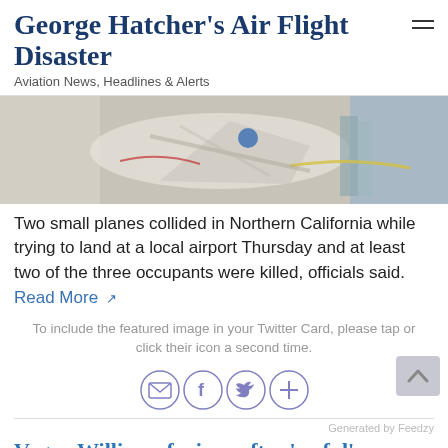George Hatcher's Air Flight Disaster
Aviation News, Headlines & Alerts
[Figure (photo): Crashed small plane wreckage debris on the ground, white fuselage fragments visible]
Two small planes collided in Northern California while trying to land at a local airport Thursday and at least two of the three occupants were killed, officials said.
Read More
To include the featured image in your Twitter Card, please tap or click their icon a second time.
[Figure (infographic): Social sharing icons: email, facebook, twitter, plus]
Generated by Feedzy
Vogue Williams furious after 'awful' man